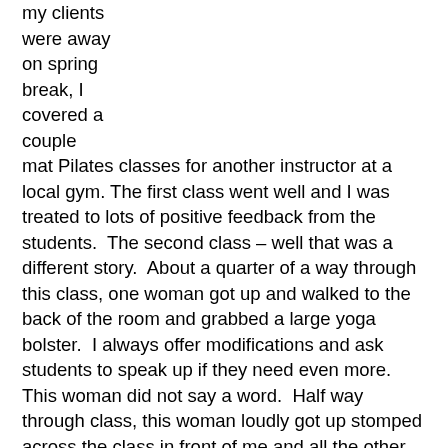my clients were away on spring break, I covered a couple mat Pilates classes for another instructor at a local gym. The first class went well and I was treated to lots of positive feedback from the students.  The second class – well that was a different story.  About a quarter of a way through this class, one woman got up and walked to the back of the room and grabbed a large yoga bolster.  I always offer modifications and ask students to speak up if they need even more.  This woman did not say a word.  Half way through class, this woman loudly got up stomped across the class in front of me and all the other students.  Violently flung her mat back on the rack and then threw the exercise band